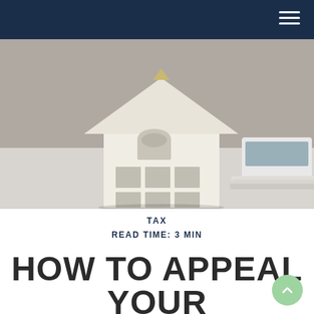[Figure (photo): A white miniature house model sitting on a desk surface next to a white calculator and some papers, photographed with a shallow depth of field against a gray background.]
TAX
READ TIME: 3 MIN
HOW TO APPEAL YOUR